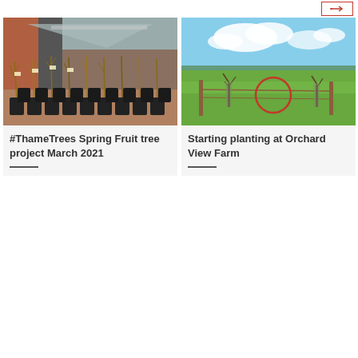[Figure (other): Navigation button with arrow icon, red border, top right corner]
[Figure (photo): Photo of many small fruit trees in black pots arranged in rows outside a brick building with a metal canopy roof]
#ThameTrees Spring Fruit tree project March 2021
[Figure (photo): Photo of an open green field with young trees planted with stakes, blue sky with clouds, and a red circle marking drawn on the photo]
Starting planting at Orchard View Farm